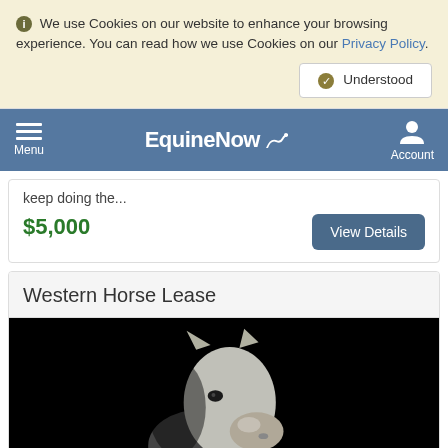We use Cookies on our website to enhance your browsing experience. You can read how we use Cookies on our Privacy Policy.
Understood
EquineNow — Menu | Account
keep doing the...
$5,000
View Details
Western Horse Lease
[Figure (photo): White horse portrait against a black background, close-up of the horse's head and neck]